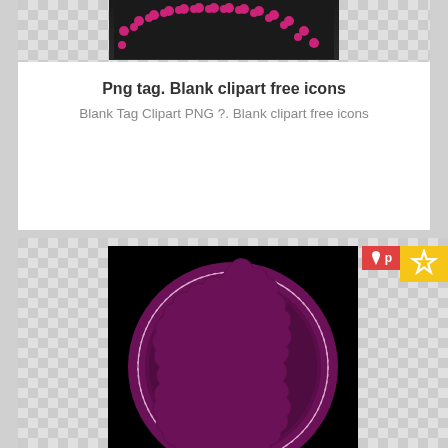[Figure (illustration): Decorative pink dot border/arch clipart on dark background — Blank Tag Clipart PNG]
Png tag. Blank clipart free icons
Blank Tag Clipart PNG ?. Blank clipart free icons
400 x 231   ⬇8  ☆0  👁65
[Figure (illustration): Vintage purple/magenta scalloped circle badge on black background — Vintage circle image]
Png tag. Vintage circle image
Vintage circle png 6. Vintage circle image